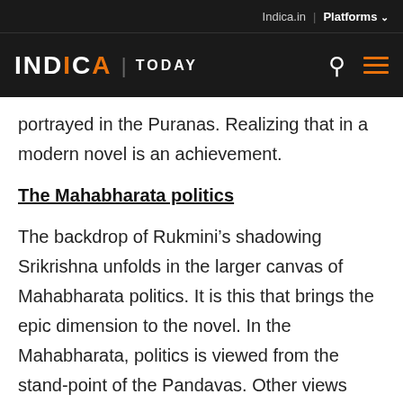Indica.in | Platforms
INDICA | TODAY
portrayed in the Puranas. Realizing that in a modern novel is an achievement.
The Mahabharata politics
The backdrop of Rukmini’s shadowing Srikrishna unfolds in the larger canvas of Mahabharata politics. It is this that brings the epic dimension to the novel. In the Mahabharata, politics is viewed from the stand-point of the Pandavas. Other views